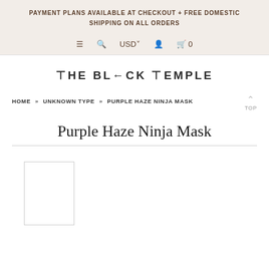PAYMENT PLANS AVAILABLE AT CHECKOUT + FREE DOMESTIC SHIPPING ON ALL ORDERS
≡  🔍  USD  👤  🛒 0
THE BLACK TEMPLE
HOME » UNKNOWN TYPE » PURPLE HAZE NINJA MASK
Purple Haze Ninja Mask
[Figure (photo): Product image placeholder rectangle, white with thin border]